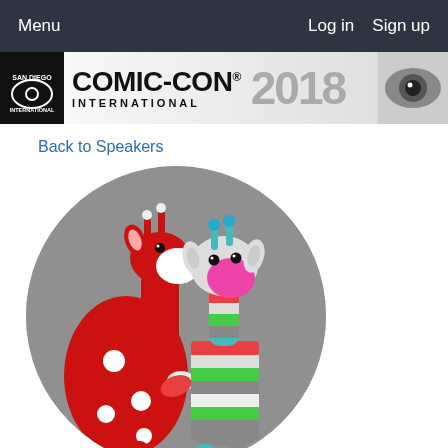Menu   Log in   Sign up
[Figure (logo): Comic-Con International 2018 banner logo]
Back to Speakers
[Figure (photo): Two crocheted giraffe stuffed animals — a large red giraffe with white polka dots on the left and a smaller multicolor striped giraffe on the right — displayed in a circular crop on a gray background]